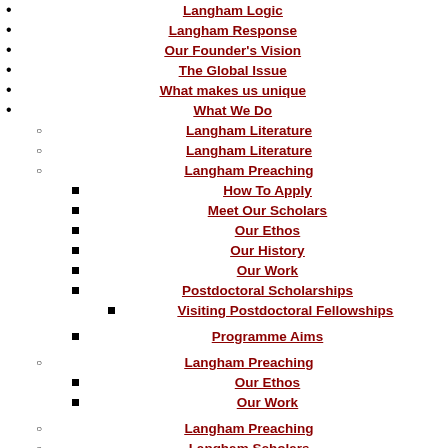Langham Logic
Langham Response
Our Founder's Vision
The Global Issue
What makes us unique
What We Do
Langham Literature
Langham Literature
Langham Preaching
How To Apply
Meet Our Scholars
Our Ethos
Our History
Our Work
Postdoctoral Scholarships
Visiting Postdoctoral Fellowships
Programme Aims
Langham Preaching
Our Ethos
Our Work
Langham Preaching
Langham Scholars
Langham Scholars
Meet Our Scholars